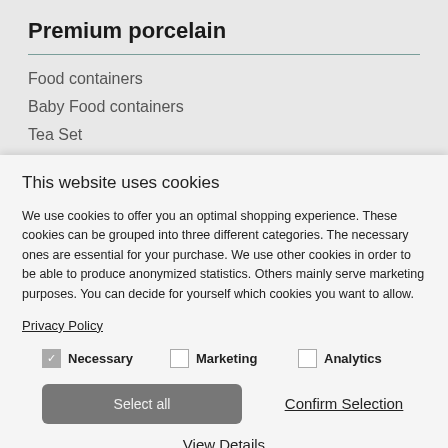Premium porcelain
Food containers
Baby Food containers
Tea Set
This website uses cookies
We use cookies to offer you an optimal shopping experience. These cookies can be grouped into three different categories. The necessary ones are essential for your purchase. We use other cookies in order to be able to produce anonymized statistics. Others mainly serve marketing purposes. You can decide for yourself which cookies you want to allow.
Privacy Policy
Necessary  Marketing  Analytics
Select all  Confirm Selection
View Details